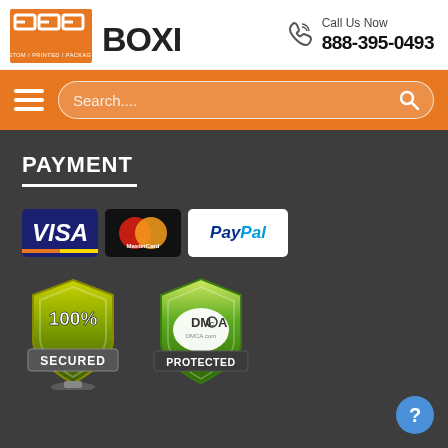[Figure (logo): CPP Boxes logo — orange square with CPP letters and CUSTOM/PRINTED/PACKAGING subtitle, followed by bold BOXES text]
Call Us Now
888-395-0493
[Figure (other): Orange navigation bar with hamburger menu icon on the left and a rounded search box with search icon on the right]
PAYMENT
[Figure (other): Payment method logos: VISA (blue background), MasterCard (overlapping red and yellow circles on black), PayPal (white background with blue/light-blue text)]
[Figure (other): 100% SECURED shield badge (green/yellow gradient shield)]
[Figure (other): DMCA PROTECTED shield badge (green shield with DMCA.com logo)]